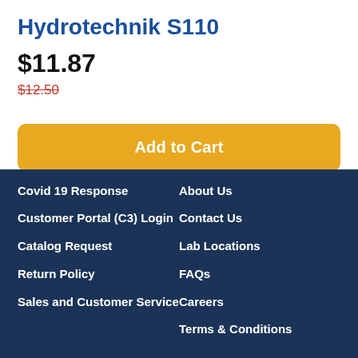Hydrotechnik S110
$11.87
$12.50
Add to Cart
Add to Quote
Covid 19 Response
Customer Portal (C3) Login
Catalog Request
Return Policy
Sales and Customer Service
About Us
Contact Us
Lab Locations
FAQs
Careers
Terms & Conditions